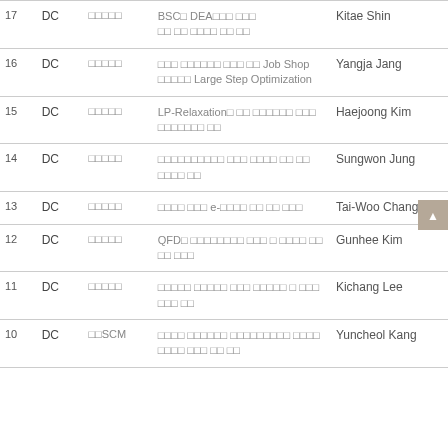| # | Type | Category | Title | Author |
| --- | --- | --- | --- | --- |
| 17 | DC | □□□□□ | BSC□ DEA□□□ □□□ □□ □□ □□□□ □□ □□ | Kitae Shin |
| 16 | DC | □□□□□ | □□□ □□□□□□ □□□ □□ Job Shop □□□□□ Large Step Optimization | Yangja Jang |
| 15 | DC | □□□□□ | LP-Relaxation□ □□ □□□□□□ □□□ □□□□□□□ □□ | Haejoong Kim |
| 14 | DC | □□□□□ | □□□□□□□□□□ □□□ □□□□ □□ □□ □□□□ □□ | Sungwon Jung |
| 13 | DC | □□□□□ | □□□□ □□□ e-□□□□ □□ □□ □□□ | Tai-Woo Chang |
| 12 | DC | □□□□□ | QFD□ □□□□□□□□ □□□ □ □□□□ □□ □□ □□□ | Gunhee Kim |
| 11 | DC | □□□□□ | □□□□□ □□□□□ □□□ □□□□□ □ □□□ □□□ □□ | Kichang Lee |
| 10 | DC | □□SCM | □□□□ □□□□□□ □□□□□□□□□ □□□□ □□□□ □□□ □□ □□ | Yuncheol Kang |